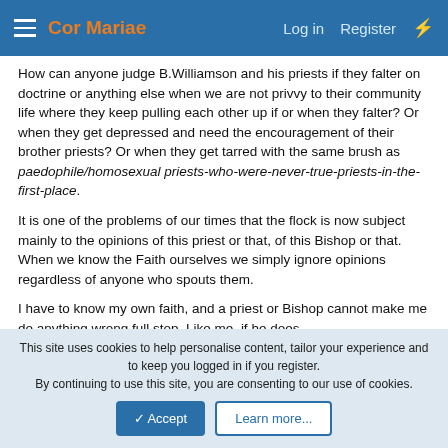Cor Mariae — Log in  Register
How can anyone judge B.Williamson and his priests if they falter on doctrine or anything else when we are not privvy to their community life where they keep pulling each other up if or when they falter? Or when they get depressed and need the encouragement of their brother priests? Or when they get tarred with the same brush as paedophile/homosexual priests-who-were-never-true-priests-in-the-first-place.
It is one of the problems of our times that the flock is now subject mainly to the opinions of this priest or that, of this Bishop or that. When we know the Faith ourselves we simply ignore opinions regardless of anyone who spouts them.
I have to know my own faith, and a priest or Bishop cannot make me do anything wrong full stop. Like me, if he does
This site uses cookies to help personalise content, tailor your experience and to keep you logged in if you register.
By continuing to use this site, you are consenting to our use of cookies.